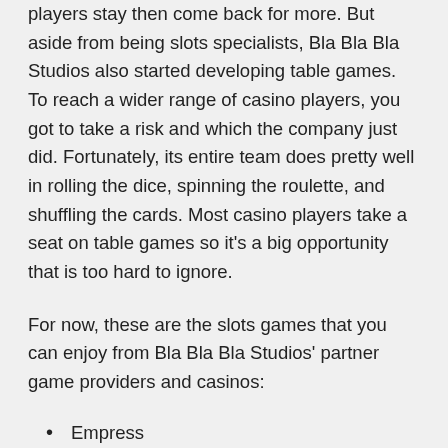players stay then come back for more. But aside from being slots specialists, Bla Bla Bla Studios also started developing table games. To reach a wider range of casino players, you got to take a risk and which the company just did. Fortunately, its entire team does pretty well in rolling the dice, spinning the roulette, and shuffling the cards. Most casino players take a seat on table games so it's a big opportunity that is too hard to ignore.
For now, these are the slots games that you can enjoy from Bla Bla Bla Studios' partner game providers and casinos:
Empress